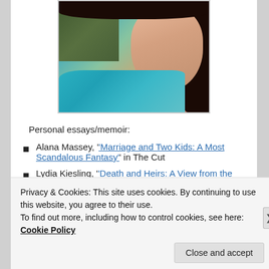[Figure (photo): Photo of a young woman with dark hair, wearing a teal/turquoise top, photographed outdoors with greenery in the background.]
Personal essays/memoir:
Alana Massey, 'Marriage and Two Kids: A Most Scandalous Fantasy' in The Cut
Lydia Kiesling, 'Death and Heirs: A View from the San Francisco Housing Market' on The Millions
Privacy & Cookies: This site uses cookies. By continuing to use this website, you agree to their use.
To find out more, including how to control cookies, see here: Cookie Policy